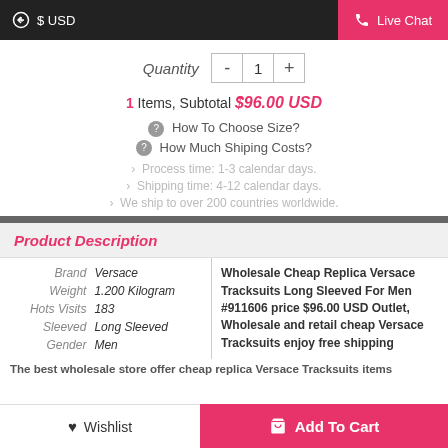$ USD  |  Live Chat
Quantity  -  1  +
1 Items, Subtotal $96.00 USD
How To Choose Size?
How Much Shiping Costs?
Process time: 1-3 calendar days.
Shipping time: 4-12 calendar days.
We ship to over 200 countries worldwide.
Product Description
| Field | Value |
| --- | --- |
| Brand | Versace |
| Weight | 1.200 Kilogram |
| Hots Visits | 183 |
| Sleeved | Long Sleeved |
| Gender | Men |
Wholesale Cheap Replica Versace Tracksuits Long Sleeved For Men #911606 price $96.00 USD Outlet, Wholesale and retail cheap Versace Tracksuits enjoy free shipping
The best wholesale store offer cheap replica Versace Tracksuits items…
♥ Wishlist  |  🛒 Add To Cart